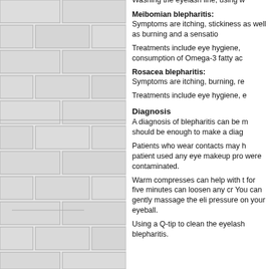[Figure (photo): White painted brick wall texture on the left side of the page]
Washing the eyelash line, using w...
Meibomian blepharitis:
Symptoms are itching, stickiness as well as burning and a sensatio...
Treatments include eye hygiene, consumption of Omega-3 fatty ac...
Rosacea blepharitis:
Symptoms are itching, burning, re...
Treatments include eye hygiene, e...
Diagnosis
A diagnosis of blepharitis can be m... should be enough to make a diag...
Patients who wear contacts may h... patient used any eye makeup pro... were contaminated.
Warm compresses can help with t... for five minutes can loosen any cr... You can gently massage the eli... pressure on your eyeball.
Using a Q-tip to clean the eyelash... blepharitis.